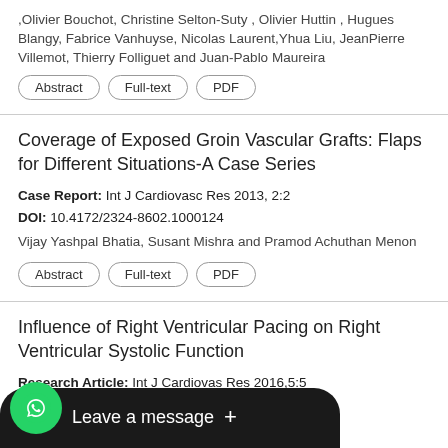,Olivier Bouchot, Christine Selton-Suty , Olivier Huttin , Hugues Blangy, Fabrice Vanhuyse, Nicolas Laurent,Yhua Liu, JeanPierre Villemot, Thierry Folliguet and Juan-Pablo Maureira
Abstract | Full-text | PDF
Coverage of Exposed Groin Vascular Grafts: Flaps for Different Situations-A Case Series
Case Report: Int J Cardiovasc Res 2013, 2:2
DOI: 10.4172/2324-8602.1000124
Vijay Yashpal Bhatia, Susant Mishra and Pramod Achuthan Menon
Abstract | Full-text | PDF
Influence of Right Ventricular Pacing on Right Ventricular Systolic Function
Research Article: Int J Cardiovas Res 2016,5:5
DOI: 10.4172/2324-8602.1000283
...ič J, Ondreičák R, Peroutka Z and Paďour M
[Figure (other): WhatsApp chat widget overlay with green phone icon and 'Leave a message +' dark bar at bottom of screen]